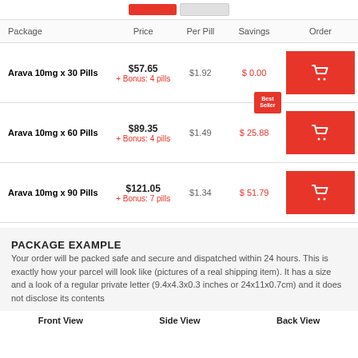| Package | Price | Per Pill | Savings | Order |
| --- | --- | --- | --- | --- |
| Arava 10mg x 30 Pills | $57.65
+ Bonus: 4 pills | $1.92 | $ 0.00 | [cart] |
| Arava 10mg x 60 Pills | $89.35
+ Bonus: 4 pills | $1.49 | $ 25.88 | [cart] |
| Arava 10mg x 90 Pills | $121.05
+ Bonus: 7 pills | $1.34 | $ 51.79 | [cart] |
PACKAGE EXAMPLE
Your order will be packed safe and secure and dispatched within 24 hours. This is exactly how your parcel will look like (pictures of a real shipping item). It has a size and a look of a regular private letter (9.4x4.3x0.3 inches or 24x11x0.7cm) and it does not disclose its contents
Front View   Side View   Back View